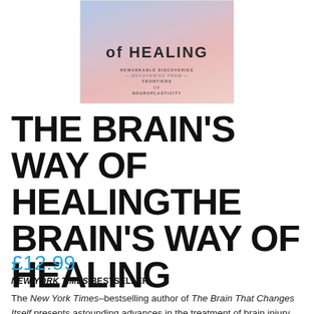[Figure (photo): Book cover of 'The Brain's Way of Healing' with gradient blue-pink background and subtitle text 'Remarkable Discoveries — Recoveries From — Frontiers of Neuroplasticity']
THE BRAIN'S WAY OF HEALINGTHE BRAIN'S WAY OF HEALING
£12.99
NEW YORK TIMES BESTSELLER
The New York Times–bestselling author of The Brain That Changes Itself presents astounding advances in the treatment of brain injury and illness. Now in an updated